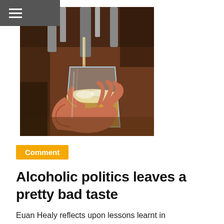≡
[Figure (photo): Person holding a glass of beer being poured at a bar tap, warm brown tones]
Comment
Alcoholic politics leaves a pretty bad taste
Euan Healy reflects upon lessons learnt in